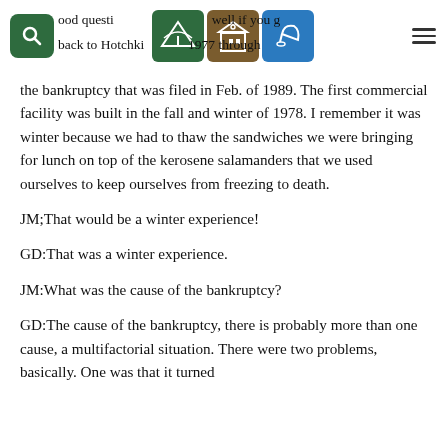[Navigation bar with search icon, green tree icon, brown schoolhouse icon, blue bell icon, and hamburger menu]
ood questi well if you g back to Hotchki 1977 through the bankruptcy that was filed in Feb. of 1989. The first commercial facility was built in the fall and winter of 1978. I remember it was winter because we had to thaw the sandwiches we were bringing for lunch on top of the kerosene salamanders that we used ourselves to keep ourselves from freezing to death.
JM;That would be a winter experience!
GD:That was a winter experience.
JM:What was the cause of the bankruptcy?
GD:The cause of the bankruptcy, there is probably more than one cause, a multifactorial situation. There were two problems, basically. One was that it turned